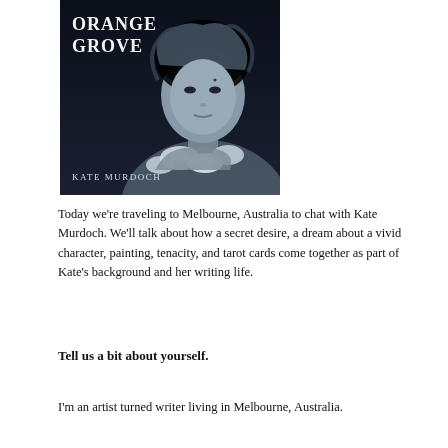[Figure (photo): Book cover of 'Orange Grove' by Kate Murdoch — dark background with a woman holding white flowers, text 'ORANGE GROVE' at top and 'Kate Murdoch' at bottom left.]
Today we're traveling to Melbourne, Australia to chat with Kate Murdoch. We'll talk about how a secret desire, a dream about a vivid character, painting, tenacity, and tarot cards come together as part of Kate's background and her writing life.
Tell us a bit about yourself.
I'm an artist turned writer living in Melbourne, Australia.